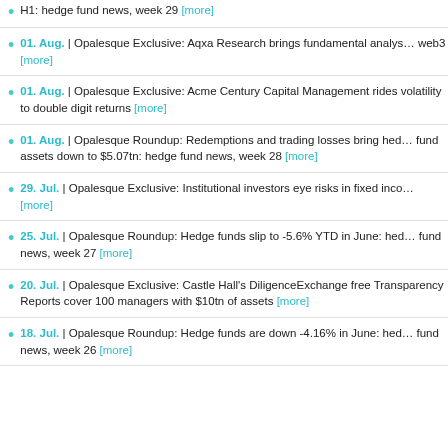H1: hedge fund news, week 29 [more]
01. Aug. | Opalesque Exclusive: Aqxa Research brings fundamental analysis to web3 [more]
01. Aug. | Opalesque Exclusive: Acme Century Capital Management rides volatility to double digit returns [more]
01. Aug. | Opalesque Roundup: Redemptions and trading losses bring hedge fund assets down to $5.07tn: hedge fund news, week 28 [more]
29. Jul. | Opalesque Exclusive: Institutional investors eye risks in fixed income [more]
25. Jul. | Opalesque Roundup: Hedge funds slip to -5.6% YTD in June: hedge fund news, week 27 [more]
20. Jul. | Opalesque Exclusive: Castle Hall's DiligenceExchange free Transparency Reports cover 100 managers with $10tn of assets [more]
18. Jul. | Opalesque Roundup: Hedge funds are down -4.16% in June: hedge fund news, week 26 [more]